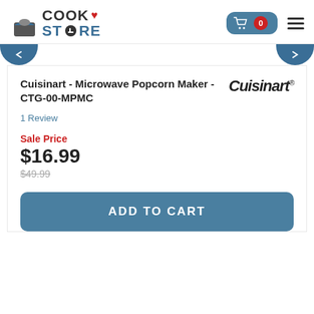Cook Store — navigation header with cart (0 items) and hamburger menu
[Figure (logo): CookStore logo with maple leaf and spatula icon]
Cuisinart - Microwave Popcorn Maker - CTG-00-MPMC
[Figure (logo): Cuisinart brand logo]
1 Review
Sale Price
$16.99
$49.99
ADD TO CART